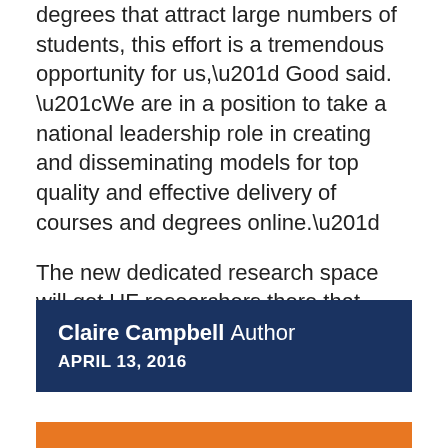degrees that attract large numbers of students, this effort is a tremendous opportunity for us,” Good said. “We are in a position to take a national leadership role in creating and disseminating models for top quality and effective delivery of courses and degrees online.”
The new dedicated research space will get UF researchers there that much more quickly, Good said.
Claire Campbell Author
APRIL 13, 2016